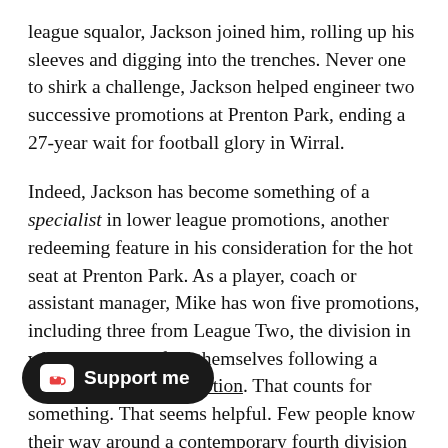league squalor, Jackson joined him, rolling up his sleeves and digging into the trenches. Never one to shirk a challenge, Jackson helped engineer two successive promotions at Prenton Park, ending a 27-year wait for football glory in Wirral.

Indeed, Jackson has become something of a specialist in lower league promotions, another redeeming feature in his consideration for the hot seat at Prenton Park. As a player, coach or assistant manager, Mike has won five promotions, including three from League Two, the division in which Tranmere find themselves following a pandemic-fuelled demotion. That counts for something. That seems helpful. Few people know their way around a contemporary fourth division dressing room like Mike Jackson, job title be damned. Tranmere will continue to benefit from that insight.
[Figure (other): Support me button with Ko-fi coffee cup icon on dark rounded pill background]